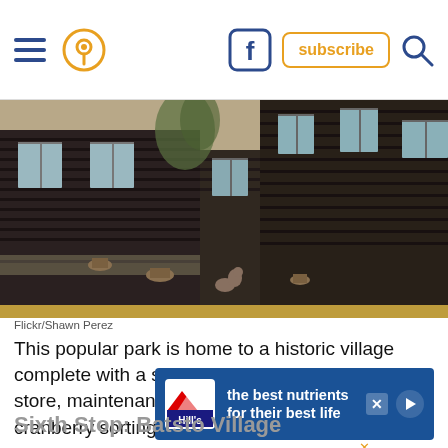Navigation bar with hamburger menu, location pin icon, Facebook icon, Subscribe button, Search icon
[Figure (photo): Photo of a historic dark wood building with horizontal siding and multiple windows, surrounded by dry grass and tree stumps. Photo credit: Flickr/Shawn Perez]
Flickr/Shawn Perez
This popular park is home to a historic village complete with a sawmill, schoolhouse, general store, maintenance shop, cook house and a cranberry sorting and packing house. Buildings date back to the late 19th century. The restored sawmill [text partially obscured by ad] guided [text partially obscured by ad]
[Figure (screenshot): Advertisement banner: Hill's pet food ad. Text reads 'the best nutrients for their best life' with Hill's logo and play button.]
Sixth Stop: Batsto Village